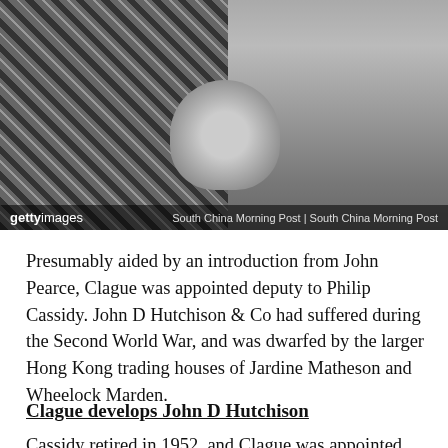[Figure (photo): Black and white photograph of people at what appears to be a formal event, with a man in a suit on the right. Getty Images watermark visible with South China Morning Post credit.]
gettyimages  South China Morning Post | South China Morning Post
Presumably aided by an introduction from John Pearce, Clague was appointed deputy to Philip Cassidy. John D Hutchison & Co had suffered during the Second World War, and was dwarfed by the larger Hong Kong trading houses of Jardine Matheson and Wheelock Marden.
Clague develops John D Hutchison
Cassidy retired in 1952, and Clague was appointed